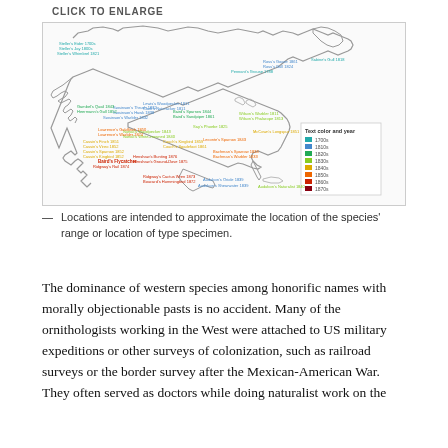CLICK TO ENLARGE
[Figure (map): Map of North America showing locations of bird species type specimens, color-coded by decade from 1700s through 1870s. Labels in various colors (teal, blue, green, yellow, orange, red, dark red) indicate species names and years across the continent. A legend shows Text color and year with color swatches for 1700s, 1810s, 1820s, 1830s, 1840s, 1850s, 1860s, 1870s.]
Locations are intended to approximate the location of the species' range or location of type specimen.
The dominance of western species among honorific names with morally objectionable pasts is no accident. Many of the ornithologists working in the West were attached to US military expeditions or other surveys of colonization, such as railroad surveys or the border survey after the Mexican-American War. They often served as doctors while doing naturalist work on the